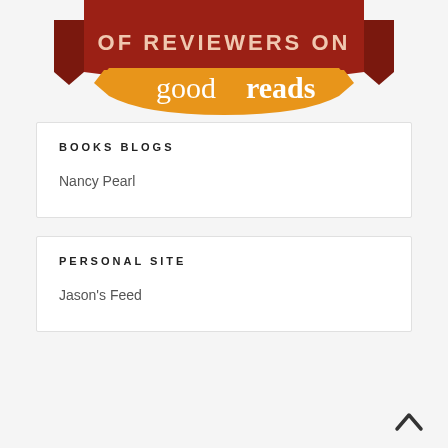[Figure (logo): Goodreads banner logo with dark red ribbon banner reading 'OF REVIEWERS ON' and orange badge with 'goodreads' text in white]
BOOKS BLOGS
Nancy Pearl
PERSONAL SITE
Jason's Feed